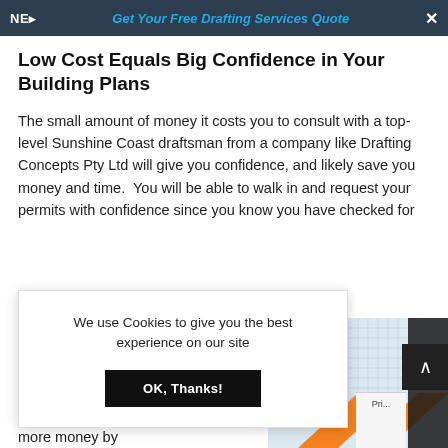NE▸   Get Your Free Drafting Services Quote   ✕
Low Cost Equals Big Confidence in Your Building Plans
The small amount of money it costs you to consult with a top-level Sunshine Coast draftsman from a company like Drafting Concepts Pty Ltd will give you confidence, and likely save you money and time.  You will be able to walk in and request your permits with confidence since you know you have checked for
We use Cookies to give you the best experience on our site
OK, Thanks!
[Figure (screenshot): Blueprint/drafting plans with orange arrow graphic at bottom right of page]
more money by